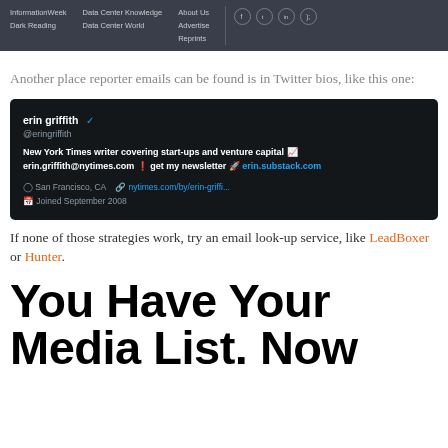InformationWeek | Dark Reading | Data Center Knowledge | Data Center World | About Us | Advertise | Reprints
Another place reporter emails can be found is in Twitter bios, like this one:
[Figure (screenshot): Twitter/X profile screenshot of Erin Griffith (@eringriffith), New York Times writer covering start-ups and venture capital. Bio includes email erin.griffith@nytimes.com, newsletter link erin.substack.com, location San Francisco CA, website nytimes.com/by/erin-griffi..., Joined September 2008.]
If none of those strategies work, try an email look-up service, like LeadBoxer or Hunter.
You Have Your Media List. Now